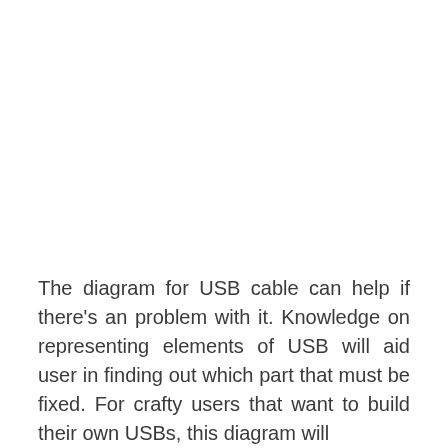The diagram for USB cable can help if there's an problem with it. Knowledge on representing elements of USB will aid user in finding out which part that must be fixed. For crafty users that want to build their own USBs, this diagram will